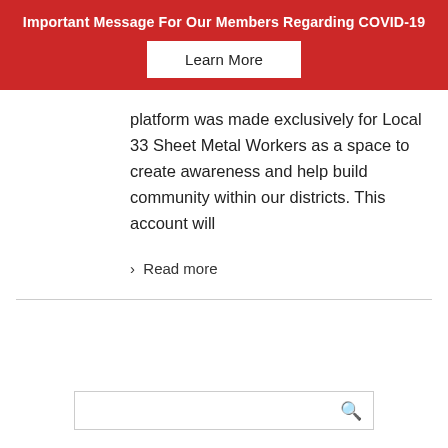Important Message For Our Members Regarding COVID-19
Learn More
platform was made exclusively for Local 33 Sheet Metal Workers as a space to create awareness and help build community within our districts. This account will
› Read more